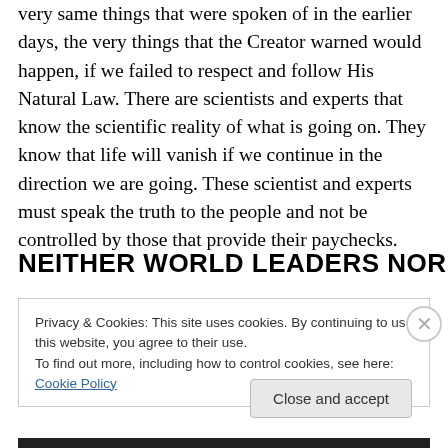very same things that were spoken of in the earlier days, the very things that the Creator warned would happen, if we failed to respect and follow His Natural Law. There are scientists and experts that know the scientific reality of what is going on. They know that life will vanish if we continue in the direction we are going. These scientist and experts must speak the truth to the people and not be controlled by those that provide their paychecks.
NEITHER WORLD LEADERS NOR
Privacy & Cookies: This site uses cookies. By continuing to use this website, you agree to their use.
To find out more, including how to control cookies, see here: Cookie Policy